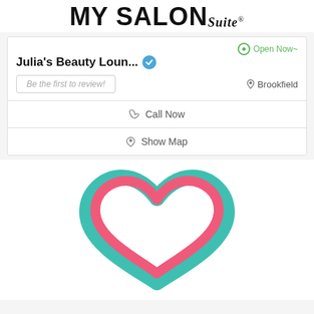[Figure (logo): My Salon Suite logo with large bold text 'MY SALON' and italic script 'Suite' with registered trademark symbol]
Open Now~
Julia's Beauty Loun...
Be the first to review!
Brookfield
Call Now
Show Map
[Figure (logo): Decorative heart logo made of overlapping pink and teal ribbon-like strokes forming a heart shape]